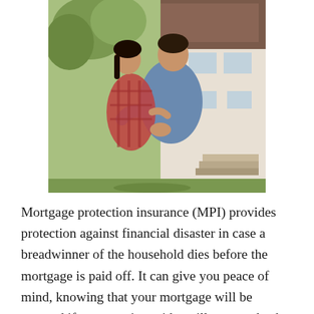[Figure (photo): A couple seen from behind, arms around each other, looking at a house in the background. The person on the left wears a red plaid shirt and the person on the right wears a denim jacket.]
Mortgage protection insurance (MPI) provides protection against financial disaster in case a breadwinner of the household dies before the mortgage is paid off. It can give you peace of mind, knowing that your mortgage will be covered if a traumatic accident, illness, or death, or disability